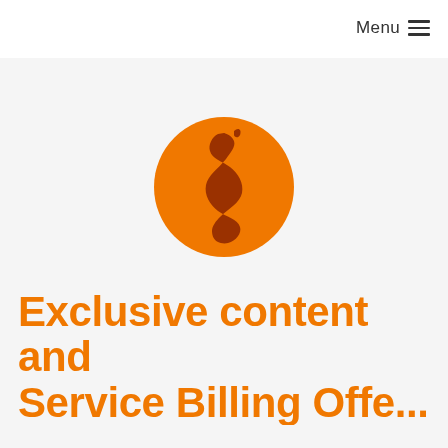Menu ≡
[Figure (logo): Orange circular logo with a dark brown S-shaped coffee bean swirl design inside, with a small curved element at the top right of the circle]
Exclusive content and Service Billing Offers